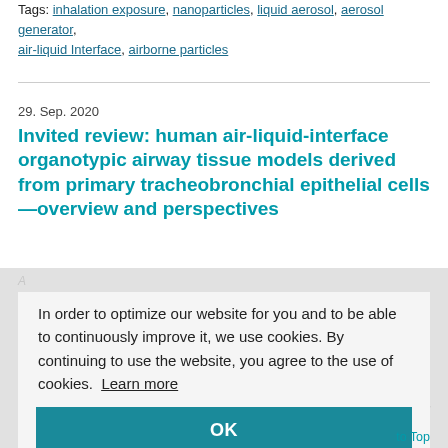Tags: inhalation exposure, nanoparticles, liquid aerosol, aerosol generator, air-liquid Interface, airborne particles
29. Sep. 2020
Invited review: human air-liquid-interface organotypic airway tissue models derived from primary tracheobronchial epithelial cells—overview and perspectives
In order to optimize our website for you and to be able to continuously improve it, we use cookies. By continuing to use the website, you agree to the use of cookies.  Learn more
OK
Heflich1,
akul2
for
NCTR
to Top
atory
Centers
forDisease Control and Prevention,Morgantown,WV, USA